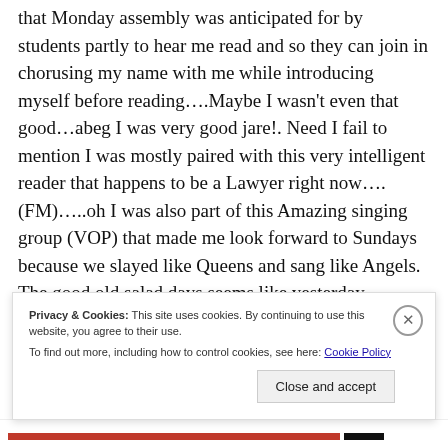that Monday assembly was anticipated for by students partly to hear me read and so they can join in chorusing my name with me while introducing myself before reading….Maybe I wasn't even that good…abeg I was very good jare!. Need I fail to mention I was mostly paired with this very intelligent reader that happens to be a Lawyer right now….(FM)…..oh I was also part of this Amazing singing group (VOP) that made me look forward to Sundays because we slayed like Queens and sang like Angels. The good old salad days seems like yesterday.
Privacy & Cookies: This site uses cookies. By continuing to use this website, you agree to their use. To find out more, including how to control cookies, see here: Cookie Policy
Close and accept